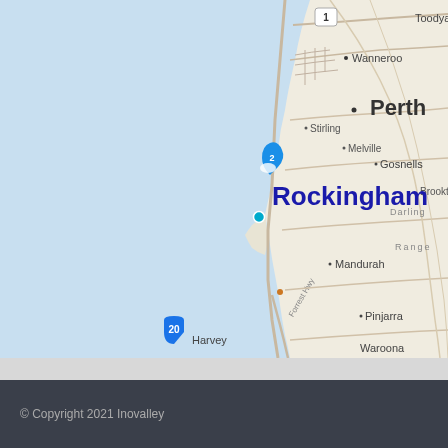[Figure (map): Map of the Perth and Rockingham region in Western Australia, showing the Indian Ocean coastline on the left (light blue), and land on the right with labeled towns including Toodyay, Wanneroo, Perth (large label), Stirling, Melville, Gosnells, Rockingham (large bold dark blue label with a blue teardrop marker '2' and a cyan dot marker), Brookton, Darling Range label, Mandurah, Pinjarra, Waroona, Harvey, and a highway marker '20'. A road labeled 'Forrest Hwy' runs diagonally. A route '1' shield appears at the top. Road networks and geographic features are visible.]
© Copyright 2021 Inovalley